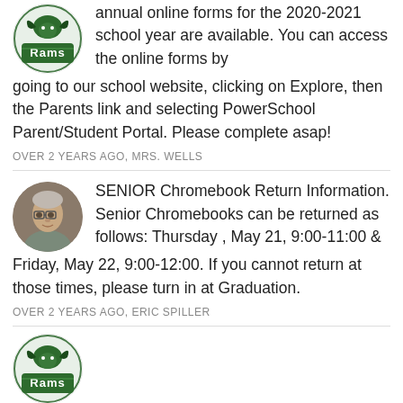annual online forms for the 2020-2021 school year are available. You can access the online forms by going to our school website, clicking on Explore, then the Parents link and selecting PowerSchool Parent/Student Portal. Please complete asap!
OVER 2 YEARS AGO, MRS. WELLS
SENIOR Chromebook Return Information. Senior Chromebooks can be returned as follows: Thursday , May 21, 9:00-11:00 & Friday, May 22, 9:00-12:00. If you cannot return at those times, please turn in at Graduation.
OVER 2 YEARS AGO, ERIC SPILLER